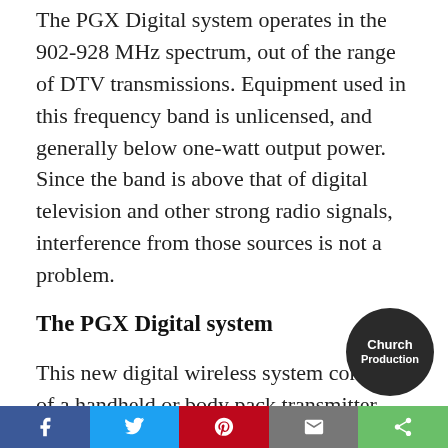The PGX Digital system operates in the 902-928 MHz spectrum, out of the range of DTV transmissions. Equipment used in this frequency band is unlicensed, and generally below one-watt output power. Since the band is above that of digital television and other strong radio signals, interference from those sources is not a problem.
The PGX Digital system
This new digital wireless system consists of a handheld or body pack transmitter and a stand-alone receiver. The hand-held features either an SM58 or Beta 58 mic, and uses Shure's screw-on interchangeable head. The body pack has a f…